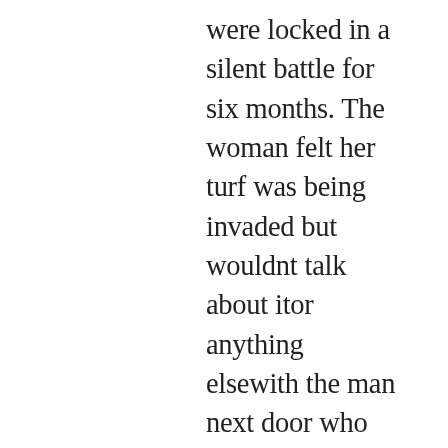were locked in a silent battle for six months. The woman felt her turf was being invaded but wouldnt talk about itor anything elsewith the man next door who was causing her consternation. She rolled her eyes at him in meetings, making him feel disrespected. When she finally lit into him, she felt that he should already know what was wrongbut he didnt. The frequency of conflict has been measured in several settings. In an observational study of operating rooms, conflicts were described as high tension events; in all surgical cases observed there was at least one and up to four high tension events.1 Another study found on average four conflicts per operation emerged among operating room team members.2 In a survey of 5,000 full time employees in nine